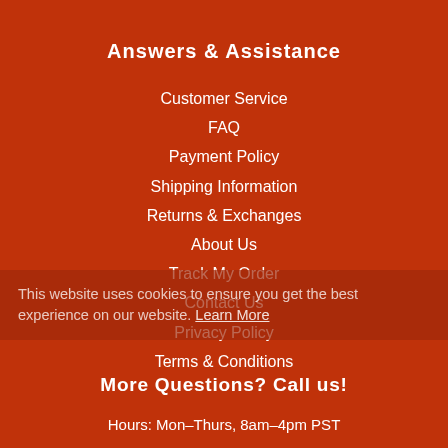Answers & Assistance
Customer Service
FAQ
Payment Policy
Shipping Information
Returns & Exchanges
About Us
Track My Order
Contact Us
Privacy Policy
Terms & Conditions
This website uses cookies to ensure you get the best experience on our website. Learn More
More Questions? Call us!
Hours: Mon–Thurs, 8am–4pm PST